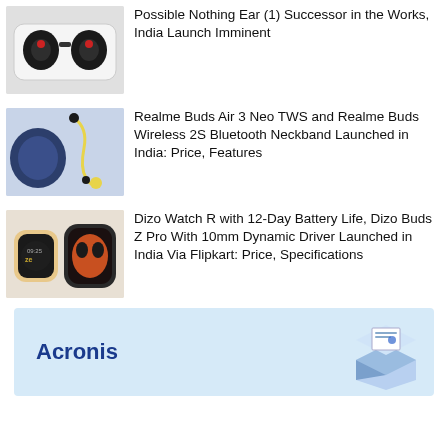[Figure (photo): White TWS earbuds in case - Nothing Ear (1) style product]
Possible Nothing Ear (1) Successor in the Works, India Launch Imminent
[Figure (photo): Dark blue TWS earbuds case alongside a yellow neckband earbud]
Realme Buds Air 3 Neo TWS and Realme Buds Wireless 2S Bluetooth Neckband Launched in India: Price, Features
[Figure (photo): Dizo smartwatch (rose gold) and Dizo Buds Z Pro earbuds in orange case]
Dizo Watch R with 12-Day Battery Life, Dizo Buds Z Pro With 10mm Dynamic Driver Launched in India Via Flipkart: Price, Specifications
[Figure (photo): Acronis advertisement banner with blue background and product box illustration]